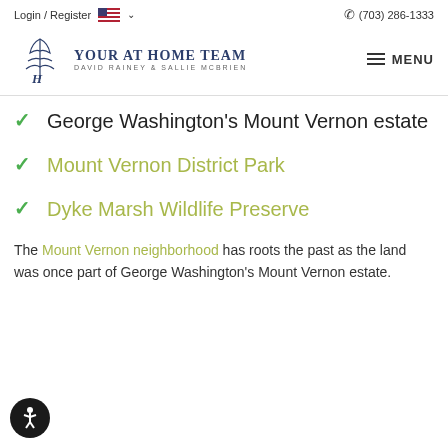Login / Register  🇺🇸 ∨   📞 (703) 286-1333
[Figure (logo): Your At Home Team logo with stylized plant/key icon. Text: YOUR AT HOME TEAM, DAVID RAINEY & SALLIE MCBRIEN]
George Washington's Mount Vernon estate
Mount Vernon District Park
Dyke Marsh Wildlife Preserve
The Mount Vernon neighborhood has roots the past as the land was once part of George Washington's Mount Vernon estate.